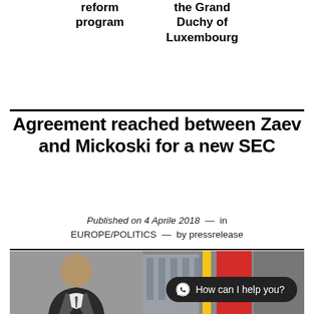reform program
the Grand Duchy of Luxembourg
Agreement reached between Zaev and Mickoski for a new SEC
Published on 4 Aprile 2018  —  in EUROPE/POLITICS  —  by pressrelease
[Figure (photo): Photo of a man in a suit with a flag in the background, and a WhatsApp chat button overlay reading 'How can I help you?']